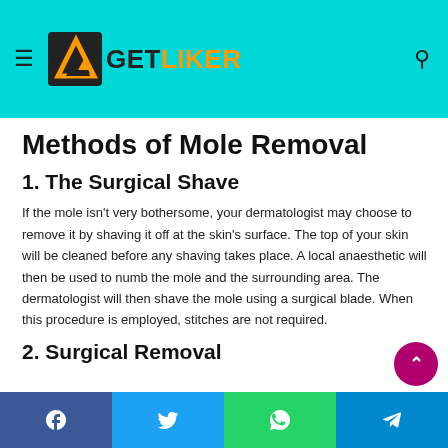GETLIKER
Methods of Mole Removal
1. The Surgical Shave
If the mole isn't very bothersome, your dermatologist may choose to remove it by shaving it off at the skin's surface. The top of your skin will be cleaned before any shaving takes place. A local anaesthetic will then be used to numb the mole and the surrounding area. The dermatologist will then shave the mole using a surgical blade. When this procedure is employed, stitches are not required.
2. Surgical Removal
Facebook | Twitter | WhatsApp | Telegram